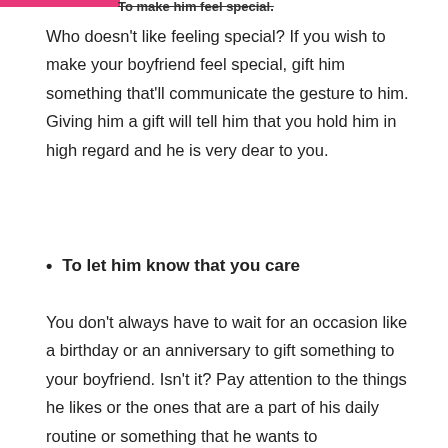To make him feel special.
Who doesn't like feeling special? If you wish to make your boyfriend feel special, gift him something that'll communicate the gesture to him. Giving him a gift will tell him that you hold him in high regard and he is very dear to you.
To let him know that you care
You don't always have to wait for an occasion like a birthday or an anniversary to gift something to your boyfriend. Isn't it? Pay attention to the things he likes or the ones that are a part of his daily routine or something that he wants to purchase/own for a long